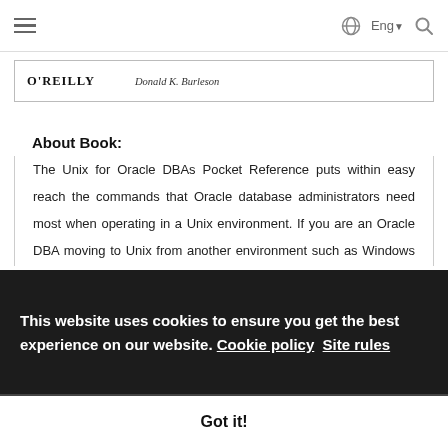≡    Eng ∨  🔍
[Figure (illustration): O'REILLY logo with author name 'Donald K. Burleson' on a book cover strip]
About Book:
The Unix for Oracle DBAs Pocket Reference puts within easy reach the commands that Oracle database administrators need most when operating in a Unix environment. If you are an Oracle DBA moving to Unix from another environment such as Windows NT or IBM Mainframe, you know that these commands are for different
This website uses cookies to ensure you get the best experience on our website. Cookie policy   Site rules
Got it!